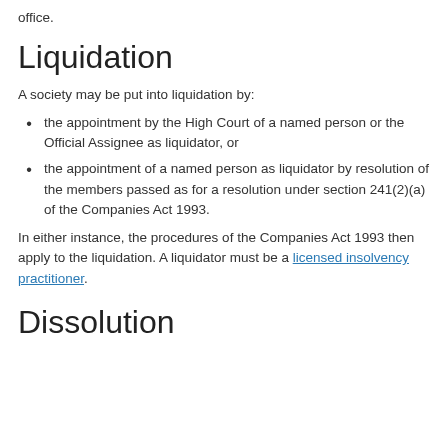office.
Liquidation
A society may be put into liquidation by:
the appointment by the High Court of a named person or the Official Assignee as liquidator, or
the appointment of a named person as liquidator by resolution of the members passed as for a resolution under section 241(2)(a) of the Companies Act 1993.
In either instance, the procedures of the Companies Act 1993 then apply to the liquidation. A liquidator must be a licensed insolvency practitioner.
Dissolution